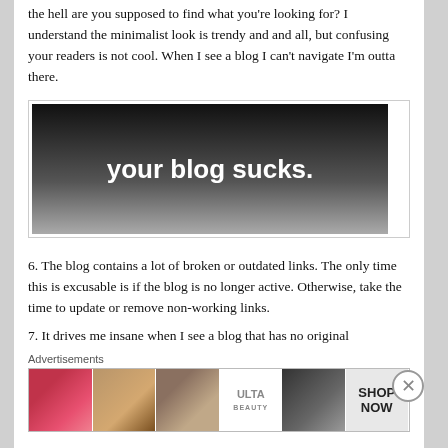the hell are you supposed to find what you're looking for? I understand the minimalist look is trendy and and all, but confusing your readers is not cool. When I see a blog I can't navigate I'm outta there.
[Figure (illustration): Dark gradient image with white bold text reading 'your blog sucks.']
6. The blog contains a lot of broken or outdated links. The only time this is excusable is if the blog is no longer active. Otherwise, take the time to update or remove non-working links.
7. It drives me insane when I see a blog that has no original
Advertisements
[Figure (photo): Advertisement banner showing beauty/makeup images including lips, brush, eye, ULTA beauty logo, eyes with makeup, and SHOP NOW text]